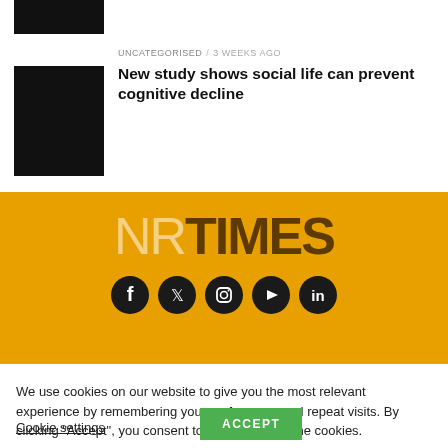[Figure (photo): Small black thumbnail image for article above]
UNCATEGORISED / 3 weeks ago
New study shows social life can prevent cognitive decline
[Figure (logo): NR TIMES logo on orange background with social media icons (Facebook, Twitter, Instagram, YouTube, LinkedIn)]
We use cookies on our website to give you the most relevant experience by remembering your preferences and repeat visits. By clicking “Accept”, you consent to the use of ALL the cookies.
Cookie settings
ACCEPT